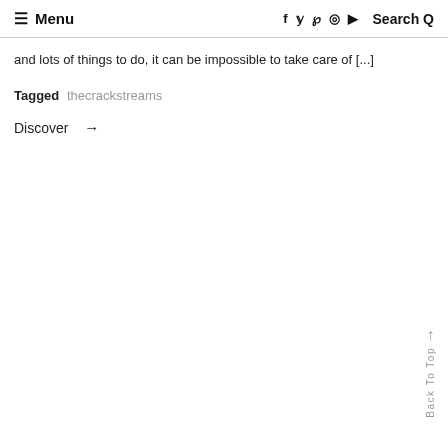≡ Menu   f  ✓  p  ◎  ▶  Search Q
and lots of things to do, it can be impossible to take care of [...]
Tagged thecrackstreams
Discover →
↑ Back To Top